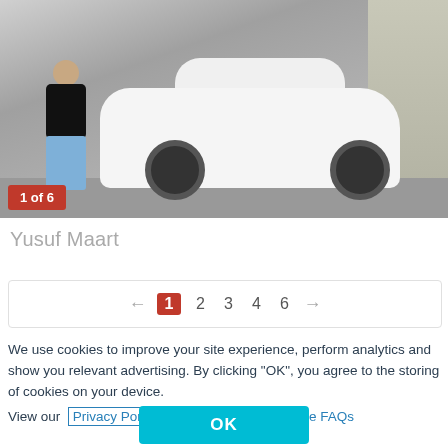[Figure (photo): A man in a black t-shirt and jeans standing next to a white Volkswagen Polo GTI in a garage. The car has a bow/ribbon on it. A badge in the bottom-left corner reads '1 of 6'.]
Yusuf Maart
← 1 2 3 4 6 →
We use cookies to improve your site experience, perform analytics and show you relevant advertising. By clicking "OK", you agree to the storing of cookies on your device. View our Privacy Portal  Cookie Policy &  Cookie FAQs
OK